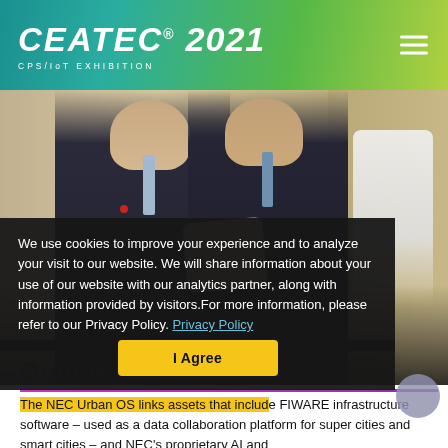CEATEC® 2021 CPS/IoT EXHIBITION
[Figure (photo): Two men in dark suits exchanging or presenting a crystal award trophy, standing indoors with curtains and white flowers in the background.]
We use cookies to improve your experience and to analyze your visit to our website. We will share information about your use of our website with our analytics partner, along with information provided by visitors.For more information, please refer to our Privacy Policy. Privacy Policy
I Agree
Outline
The NEC Urban OS links assets that include FIWARE infrastructure software – used as a data collaboration platform for super cities and smart cities – and NEC's proprietary AI and biometrics authentication technology. By combining multiple